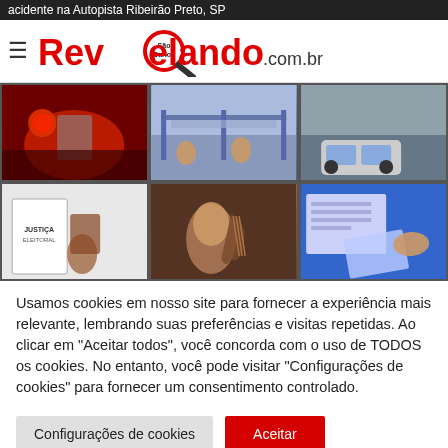acidente na Autopista Ribeirão Preto, SP
[Figure (screenshot): Website header with hamburger menu and Revelando São Carlos .com.br logo]
[Figure (photo): Grid of 6 news photos: emergency lights, factory workers, police car, justice hall, musician with guitar, form/document signing]
Usamos cookies em nosso site para fornecer a experiência mais relevante, lembrando suas preferências e visitas repetidas. Ao clicar em "Aceitar todos", você concorda com o uso de TODOS os cookies. No entanto, você pode visitar "Configurações de cookies" para fornecer um consentimento controlado.
Configurações de cookies | Aceitar